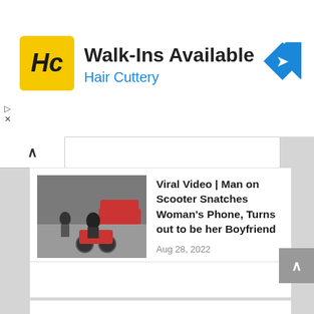[Figure (screenshot): Hair Cuttery advertisement banner with logo, 'Walk-Ins Available' heading, 'Hair Cuttery' subtitle in blue, and a navigation arrow icon on the right]
[Figure (screenshot): News article card with thumbnail image showing a man on scooter and woman, title 'Viral Video | Man on Scooter Snatches Woman's Phone, Turns out to be her Boyfriend', dated Aug 28, 2022]